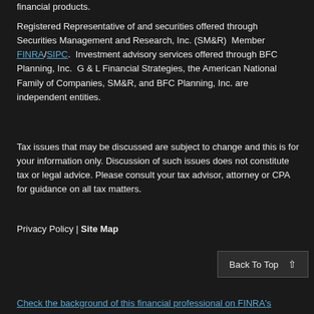financial products.
Registered Representative of and securities offered through Securities Management and Research, Inc. (SM&R)  Member FINRA/SIPC.  Investment advisory services offered through BFC Planning, Inc.  G & L Financial Strategies, the American National Family of Companies, SM&R, and BFC Planning, Inc. are independent entities.
Tax issues that may be discussed are subject to change and this is for your information only. Discussion of such issues does not constitute tax or legal advice. Please consult your tax advisor, attorney or CPA for guidance on all tax matters.
Privacy Policy | Site Map
Back To Top
Check the background of this financial professional on FINRA's